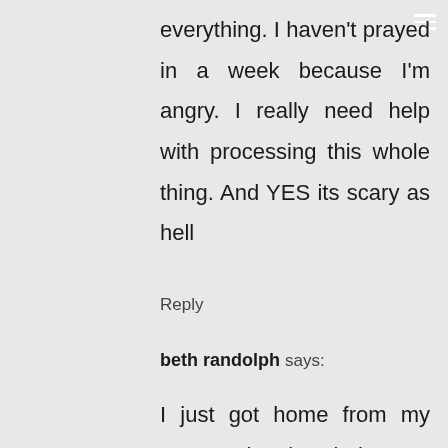everything. I haven't prayed in a week because I'm angry. I really need help with processing this whole thing. And YES its scary as hell
Reply
beth randolph says:
I just got home from my sweet daughter-in-laws funeral and